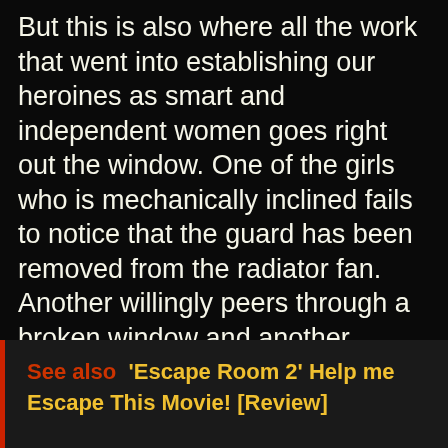But this is also where all the work that went into establishing our heroines as smart and independent women goes right out the window. One of the girls who is mechanically inclined fails to notice that the guard has been removed from the radiator fan. Another willingly peers through a broken window and another consumes food dropped off by a virtual stranger. In addition, they all stay in a place where they find that their means of contacting the authorities has suddenly been disrupted.
See also  'Escape Room 2' Help me Escape This Movie! [Review]